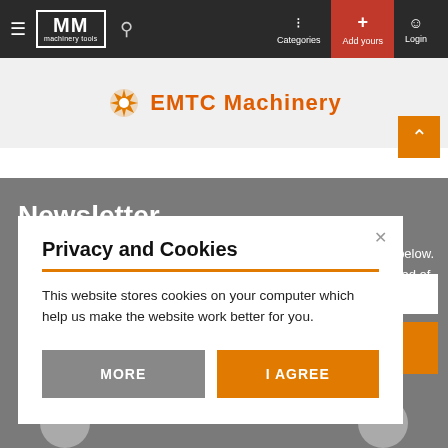MM machinery tools | Categories | Add yours | Login
[Figure (logo): EMTC Machinery logo with orange gear icon and bold orange text]
Newsletter
ng your email below. notified of.
Privacy and Cookies
This website stores cookies on your computer which help us make the website work better for you.
MORE | I AGREE